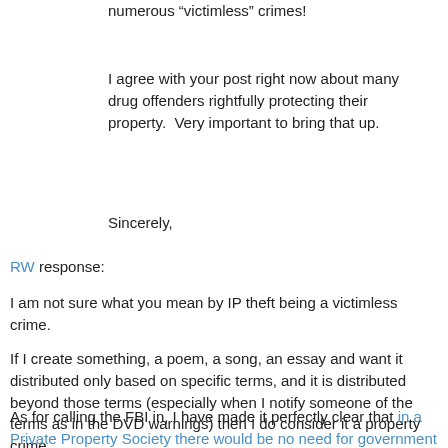numerous “victimless” crimes!
I agree with your post right now about many drug offenders rightfully protecting their property.  Very important to bring that up.
Sincerely,
RW response:
I am not sure what you mean by IP theft being a victimless crime.
If I create something, a poem, a song, an essay and want it distributed only based on specific terms, and it is distributed beyond those terms (especially when I notify someone of the terms as in the DVD warnings) then I do consider it a property crime.
As for calling the FBI in, I have made it perfectly clear that in a Private Property Society there would be no need for government police but we do not live in a PPS. So there are